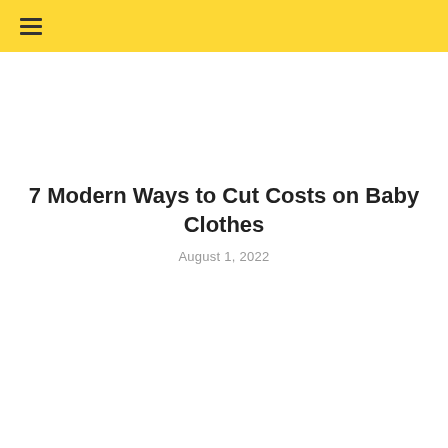7 Modern Ways to Cut Costs on Baby Clothes
August 1, 2022